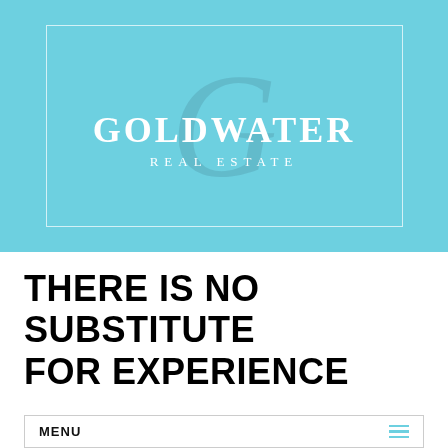[Figure (logo): Goldwater Real Estate logo on a light blue background. A large italic 'G' watermark appears behind the text 'GOLDWATER' in bold serif font and 'REAL ESTATE' in spaced capitals, all within a thin white border rectangle.]
THERE IS NO SUBSTITUTE FOR EXPERIENCE
THERE IS NO SUBSTITUTE FOR EXPERIENCE
MENU